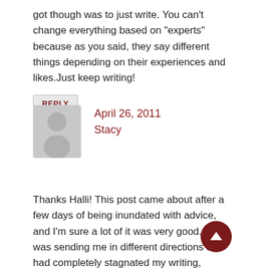got though was to just write. You can't change everything based on "experts" because as you said, they say different things depending on their experiences and likes.Just keep writing!
REPLY
[Figure (illustration): Generic user avatar placeholder image — grey silhouette of a person on a grey background]
April 26, 2011
Stacy
Thanks Halli! This post came about after a few days of being inundated with advice, and I'm sure a lot of it was very good. But it was sending me in different directions and had completely stagnated my writing, so I had to step back and be a bit more objective.You're right, just keep writing is the key. My problems occur when I start worrying about whether or not I'm doing everything right to have a chance to be published, and then I allow...